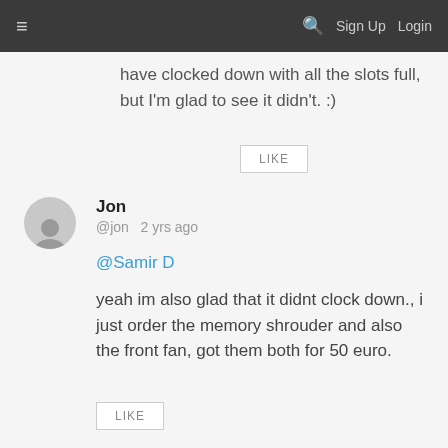≡   🔍  Sign Up  Login
have clocked down with all the slots full, but I'm glad to see it didn't. :)
LIKE
Jon @jon  2 yrs ago
@Samir D
yeah im also glad that it didnt clock down., i just order the memory shrouder and also the front fan, got them both for 50 euro.
LIKE